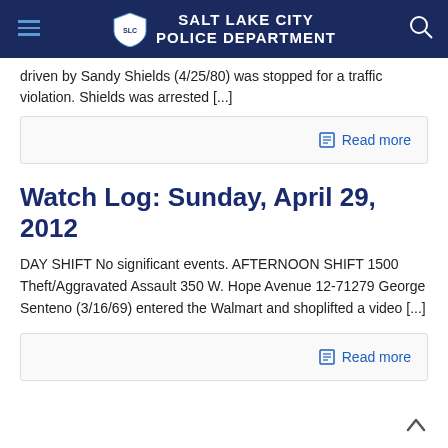SALT LAKE CITY POLICE DEPARTMENT
driven by Sandy Shields (4/25/80) was stopped for a traffic violation. Shields was arrested [...]
Read more
Watch Log: Sunday, April 29, 2012
DAY SHIFT No significant events. AFTERNOON SHIFT 1500 Theft/Aggravated Assault 350 W. Hope Avenue 12-71279 George Senteno (3/16/69) entered the Walmart and shoplifted a video [...]
Read more